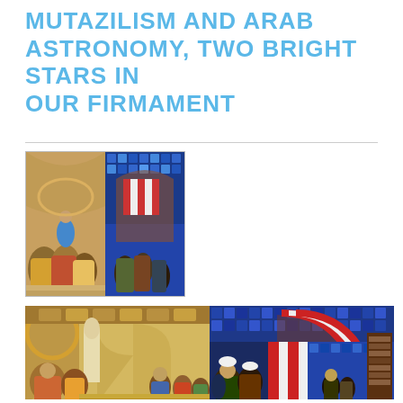MUTAZILISM AND ARAB ASTRONOMY, TWO BRIGHT STARS IN OUR FIRMAMENT
[Figure (illustration): Small composite image showing two paintings side by side: on the left, Raphael's School of Athens with philosophers gathered in a grand hall; on the right, an Islamic architectural scene with blue decorative elements and figures in robes.]
[Figure (illustration): Large composite image spanning the bottom of the page: on the left side, a detail from Raphael's School of Athens showing classical figures, arches, and a statue; on the right side, an Islamic interior scene with a distinctive red-and-white striped arch, blue tilework, and scholars or figures in traditional dress.]